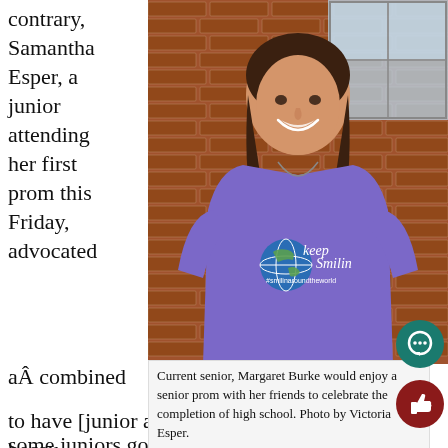contrary, Samantha Esper, a junior attending her first prom this Friday, advocated
[Figure (photo): Young woman smiling, wearing a purple 'Keep Smiling #smilinaroundtheworld' long-sleeve shirt, standing in front of a brick wall with large windows.]
Current senior, Margaret Burke would enjoy a senior prom with her friends to celebrate the completion of high school. Photo by Victoria Esper.
aÂ combined
to have [junior and senior prom] together because some juniors go with seniors and vice versa so it